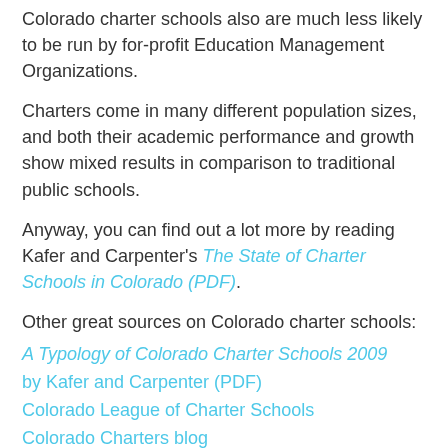Colorado charter schools also are much less likely to be run by for-profit Education Management Organizations.
Charters come in many different population sizes, and both their academic performance and growth show mixed results in comparison to traditional public schools.
Anyway, you can find out a lot more by reading Kafer and Carpenter's The State of Charter Schools in Colorado (PDF).
Other great sources on Colorado charter schools:
A Typology of Colorado Charter Schools 2009 by Kafer and Carpenter (PDF)
Colorado League of Charter Schools
Colorado Charters blog
Colorado Department of Education, Charter School Unit
Charter School Institute
A Parent's Voice
And of course ….